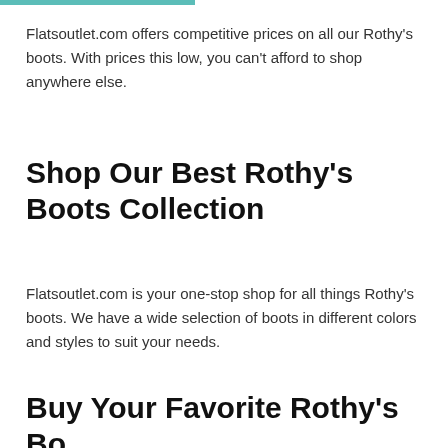Flatsoutlet.com offers competitive prices on all our Rothy's boots. With prices this low, you can't afford to shop anywhere else.
Shop Our Best Rothy's Boots Collection
Flatsoutlet.com is your one-stop shop for all things Rothy's boots. We have a wide selection of boots in different colors and styles to suit your needs.
Buy Your Favorite Rothy's Boots Now